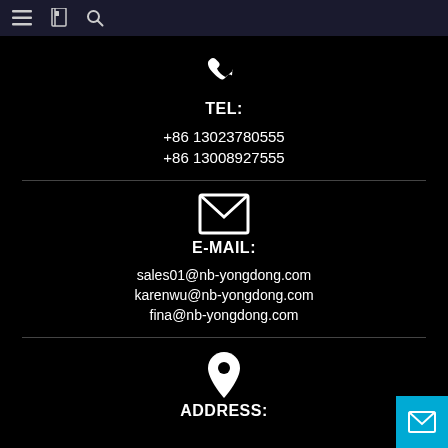[Figure (infographic): Top navigation bar with hamburger menu, book/bookmark icon, and search icon on dark navy background]
[Figure (illustration): White phone handset icon]
TEL:
+86 13023780555
+86 13008927555
[Figure (illustration): White envelope/email icon (outline style)]
E-MAIL:
sales01@nb-yongdong.com
karenwu@nb-yongdong.com
fina@nb-yongdong.com
[Figure (illustration): White map pin/location marker icon]
ADDRESS:
[Figure (illustration): Cyan/blue square button in bottom right corner with white envelope icon]